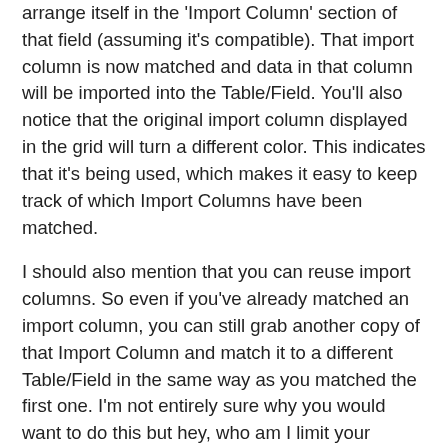arrange itself in the 'Import Column' section of that field (assuming it's compatible). That import column is now matched and data in that column will be imported into the Table/Field. You'll also notice that the original import column displayed in the grid will turn a different color. This indicates that it's being used, which makes it easy to keep track of which Import Columns have been matched.
I should also mention that you can reuse import columns. So even if you've already matched an import column, you can still grab another copy of that Import Column and match it to a different Table/Field in the same way as you matched the first one. I'm not entirely sure why you would want to do this but hey, who am I limit your options?
You may also notice that once you match an import column to a field, additional options will show up for